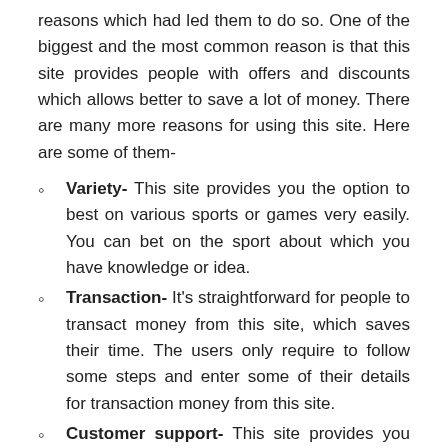reasons which had led them to do so. One of the biggest and the most common reason is that this site provides people with offers and discounts which allows better to save a lot of money. There are many more reasons for using this site. Here are some of them-
Variety- This site provides you the option to best on various sports or games very easily. You can bet on the sport about which you have knowledge or idea.
Transaction- It's straightforward for people to transact money from this site, which saves their time. The users only require to follow some steps and enter some of their details for transaction money from this site.
Customer support- This site provides you with customer support. It means, if you have any